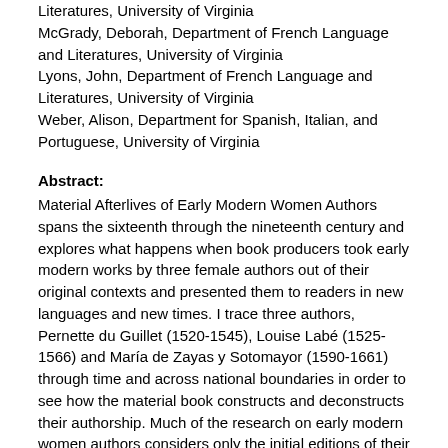Literatures, University of Virginia
McGrady, Deborah, Department of French Language and Literatures, University of Virginia
Lyons, John, Department of French Language and Literatures, University of Virginia
Weber, Alison, Department for Spanish, Italian, and Portuguese, University of Virginia
Abstract:
Material Afterlives of Early Modern Women Authors spans the sixteenth through the nineteenth century and explores what happens when book producers took early modern works by three female authors out of their original contexts and presented them to readers in new languages and new times. I trace three authors, Pernette du Guillet (1520-1545), Louise Labé (1525-1566) and María de Zayas y Sotomayor (1590-1661) through time and across national boundaries in order to see how the material book constructs and deconstructs their authorship. Much of the research on early modern women authors considers only the initial editions of their works; I demonstrate that later editions and translations of these works present the authors in new and conflicting ways. In Chapter One, I